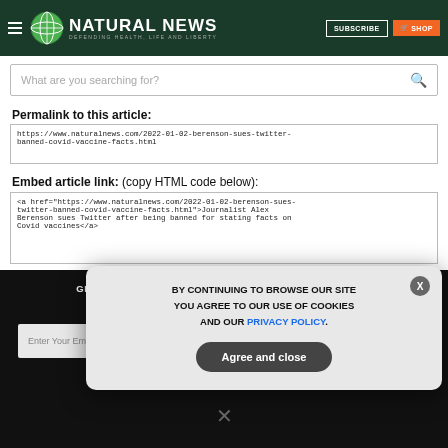NATURAL NEWS — DEFENDING HEALTH, LIFE AND LIBERTY
What are you searching for?
Permalink to this article:
https://www.naturalnews.com/2022-01-02-berenson-sues-twitter-banned-covid-vaccine-facts.html
Embed article link: (copy HTML code below):
<a href="https://www.naturalnews.com/2022-01-02-berenson-sues-twitter-banned-covid-vaccine-facts.html">Journalist Alex Berenson sues Twitter after being banned for stating facts on Covid vaccines</a>
GET THE WORLD'S BEST NATURAL HEALTH NEWSLETTER DELIVERED STRAIGHT TO YOUR INBOX
Enter Your Email Address
BY CONTINUING TO BROWSE OUR SITE YOU AGREE TO OUR USE OF COOKIES AND OUR PRIVACY POLICY.
Agree and close